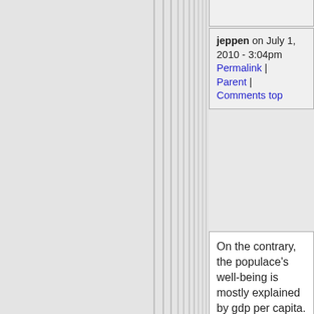jeppen on July 1, 2010 - 3:04pm Permalink | Parent | Comments top
On the contrary, the populace's well-being is mostly explained by gdp per capita. This also shows up in subjective happiness indices: